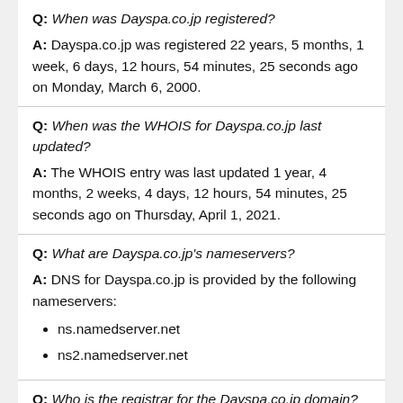Q: When was Dayspa.co.jp registered?
A: Dayspa.co.jp was registered 22 years, 5 months, 1 week, 6 days, 12 hours, 54 minutes, 25 seconds ago on Monday, March 6, 2000.
Q: When was the WHOIS for Dayspa.co.jp last updated?
A: The WHOIS entry was last updated 1 year, 4 months, 2 weeks, 4 days, 12 hours, 54 minutes, 25 seconds ago on Thursday, April 1, 2021.
Q: What are Dayspa.co.jp's nameservers?
A: DNS for Dayspa.co.jp is provided by the following nameservers:
ns.namedserver.net
ns2.namedserver.net
Q: Who is the registrar for the Dayspa.co.jp domain?